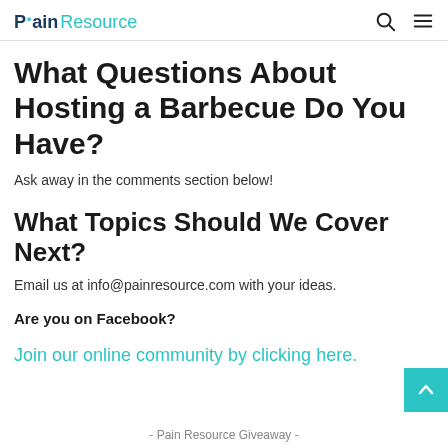Pain Resource
What Questions About Hosting a Barbecue Do You Have?
Ask away in the comments section below!
What Topics Should We Cover Next?
Email us at info@painresource.com with your ideas.
Are you on Facebook?
Join our online community by clicking here.
- Pain Resource Giveaway -